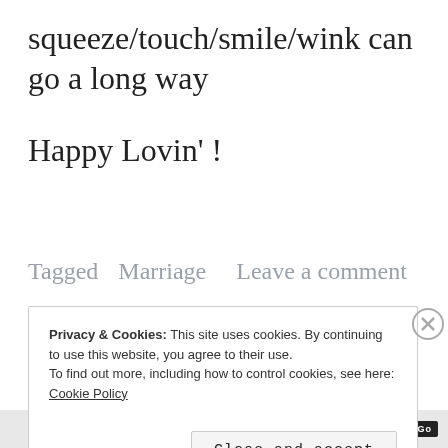squeeze/touch/smile/wink can go a long way
Happy Lovin' !
Tagged Marriage   Leave a comment
Privacy & Cookies: This site uses cookies. By continuing to use this website, you agree to their use.
To find out more, including how to control cookies, see here:
Cookie Policy
Close and accept